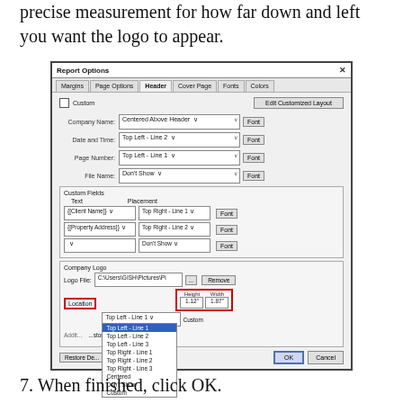precise measurement for how far down and left you want the logo to appear.
[Figure (screenshot): Report Options dialog box showing the Header tab with Company Name, Date and Time, Page Number, File Name fields, Custom Fields section with dropdowns, and Company Logo section. A dropdown for Location is expanded showing Top Left Line 1 (highlighted), Top Left Line 2, Top Left Line 3, Top Right Line 1, Top Right Line 2, Top Right Line 3, Centered, Don't Show, Custom. Red boxes highlight the Location label and the Height/Width fields (1.12" and 1.87").]
7. When finished, click OK.